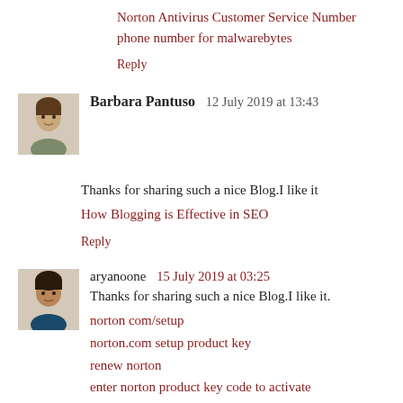Norton Antivirus Customer Service Number
phone number for malwarebytes
Reply
Barbara Pantuso  12 July 2019 at 13:43
Thanks for sharing such a nice Blog.I like it
How Blogging is Effective in SEO
Reply
aryanoone  15 July 2019 at 03:25
Thanks for sharing such a nice Blog.I like it.
norton com/setup
norton.com setup product key
renew norton
enter norton product key code to activate
norton installation with product key